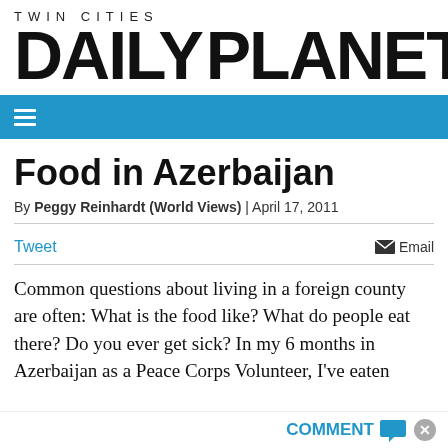TWIN CITIES DAILY PLANET
Food in Azerbaijan
By Peggy Reinhardt (World Views) | April 17, 2011
Tweet  Email
Common questions about living in a foreign county are often: What is the food like? What do people eat there? Do you ever get sick? In my 6 months in Azerbaijan as a Peace Corps Volunteer, I've eaten